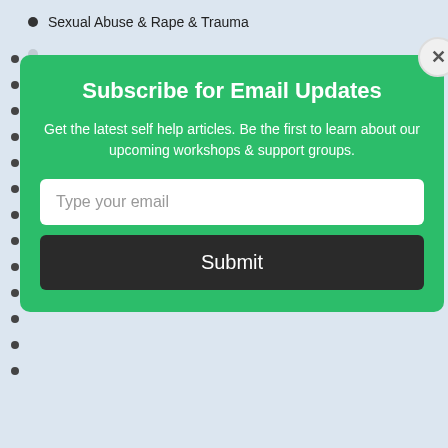Sexual Abuse & Rape & Trauma
Heart Attacks & Sex
Infertility & Sex
Pregnancy & Sex
Spina Bifida & Sex
Safer Sex & STD's
Birth Control
Celibacy
Dating Ideas
Erotica
[Figure (screenshot): Email subscription modal popup with green background. Title: 'Subscribe for Email Updates'. Body text: 'Get the latest self help articles. Be the first to learn about our upcoming workshops & support groups.' Email input field with placeholder 'Type your email'. Dark Submit button. Close X button in top-right corner.]